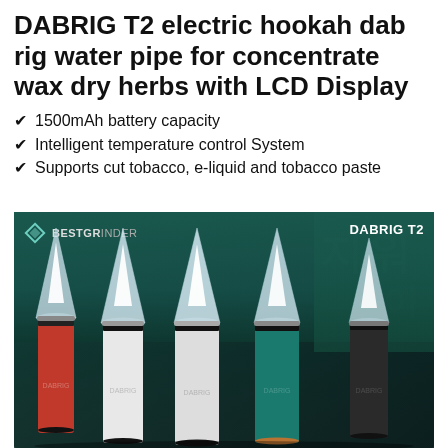DABRIG T2 electric hookah dab rig water pipe for concentrate wax dry herbs with LCD Display
1500mAh battery capacity
Intelligent temperature control System
Supports cut tobacco, e-liquid and tobacco paste
[Figure (photo): Product photo showing multiple DABRIG T2 electric dab rigs with clear glass tops and colorful bodies (red, white, teal, black) lined up, with BESTGRINDER logo and DABRIG T2 branding overlaid. Korean text visible in blurred background.]